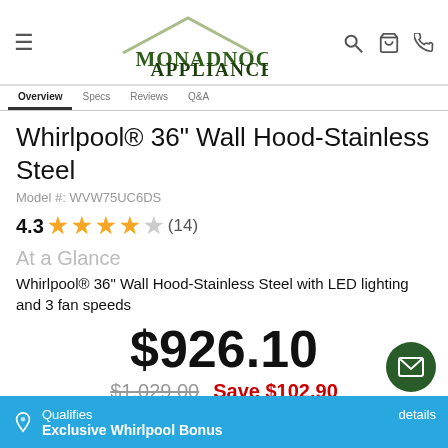[Figure (logo): Monadnock Appliance logo with green house roofline graphic above text]
Whirlpool® 36" Wall Hood-Stainless Steel
Model #: WVW75UC6DS
4.3 ★★★★☆ (14)
At a Glance
Whirlpool® 36" Wall Hood-Stainless Steel with LED lighting and 3 fan speeds
$926.10
$1,029.00  Save $102.90
Qualifies  Exclusive Whirlpool Bonus  details